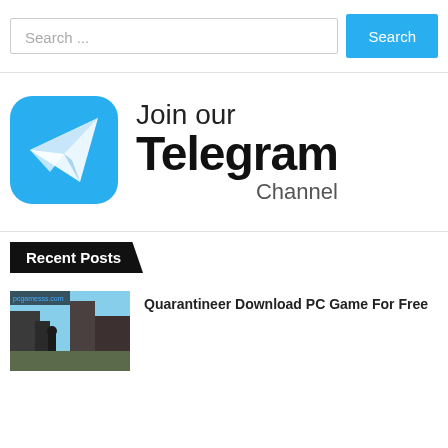Search ...
[Figure (infographic): Join our Telegram Channel banner with Telegram logo (blue rounded square with white paper plane icon) on the left and text 'Join our Telegram Channel' on the right]
Recent Posts
[Figure (screenshot): Thumbnail image of Quarantineer PC game showing in-game scene]
Quarantineer Download PC Game For Free